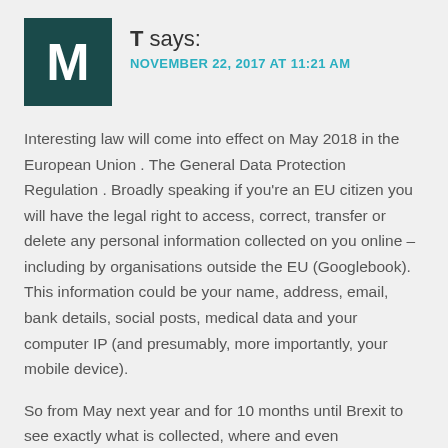[Figure (illustration): Dark teal square avatar with white letter M]
T says:
NOVEMBER 22, 2017 AT 11:21 AM
Interesting law will come into effect on May 2018 in the European Union . The General Data Protection Regulation . Broadly speaking if you're an EU citizen you will have the legal right to access, correct, transfer or delete any personal information collected on you online – including by organisations outside the EU (Googlebook). This information could be your name, address, email, bank details, social posts, medical data and your computer IP (and presumably, more importantly, your mobile device).
So from May next year and for 10 months until Brexit to see exactly what is collected, where and even